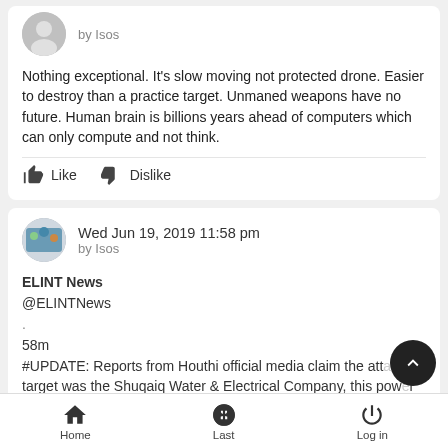Nothing exceptional. It's slow moving not protected drone. Easier to destroy than a practice target. Unmaned weapons have no future. Human brain is billions years ahead of computers which can only compute and not think.
Like  Dislike
Wed Jun 19, 2019 11:58 pm
by Isos
ELINT News
@ELINTNews
.
58m
#UPDATE: Reports from Houthi official media claim the attack target was the Shuqaiq Water & Electrical Company, this power plant is approx 120km north of Jizan City in southern Saudi
Home  Last  Log in